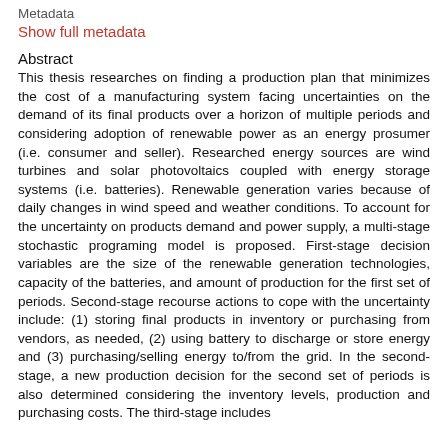Metadata
Show full metadata
Abstract
This thesis researches on finding a production plan that minimizes the cost of a manufacturing system facing uncertainties on the demand of its final products over a horizon of multiple periods and considering adoption of renewable power as an energy prosumer (i.e. consumer and seller). Researched energy sources are wind turbines and solar photovoltaics coupled with energy storage systems (i.e. batteries). Renewable generation varies because of daily changes in wind speed and weather conditions. To account for the uncertainty on products demand and power supply, a multi-stage stochastic programing model is proposed. First-stage decision variables are the size of the renewable generation technologies, capacity of the batteries, and amount of production for the first set of periods. Second-stage recourse actions to cope with the uncertainty include: (1) storing final products in inventory or purchasing from vendors, as needed, (2) using battery to discharge or store energy and (3) purchasing/selling energy to/from the grid. In the second-stage, a new production decision for the second set of periods is also determined considering the inventory levels, production and purchasing costs. The third-stage includes